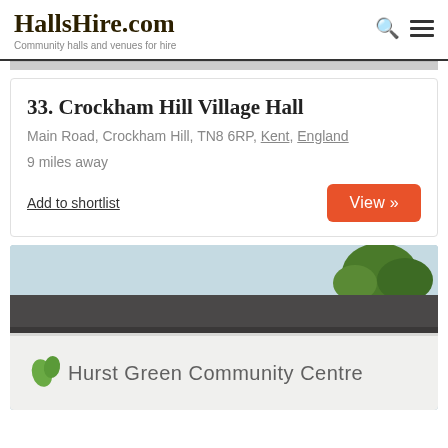HallsHire.com — Community halls and venues for hire
33. Crockham Hill Village Hall
Main Road, Crockham Hill, TN8 6RP, Kent, England
9 miles away
Add to shortlist
[Figure (photo): Photo of Hurst Green Community Centre building exterior with sign visible]
Hurst Green Community Centre